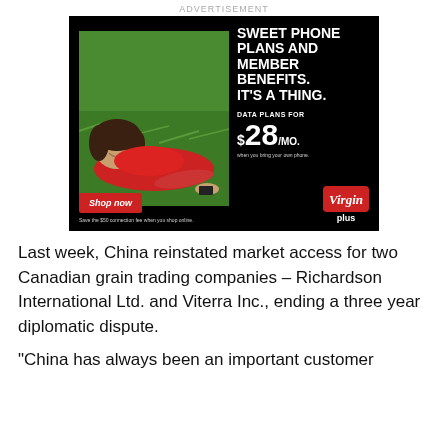ADVERTISEMENT
[Figure (photo): Virgin Plus advertisement. Black background with photo of a woman in red lying on grass holding a phone. Text reads: SWEET PHONE PLANS AND MEMBER BENEFITS. IT'S A THING. DATA PLANS FOR $28/MO. Shop now button. Save the $50 connection fee when you shop online. Virgin Plus logo.]
Last week, China reinstated market access for two Canadian grain trading companies – Richardson International Ltd. and Viterra Inc., ending a three year diplomatic dispute.
“China has always been an important customer